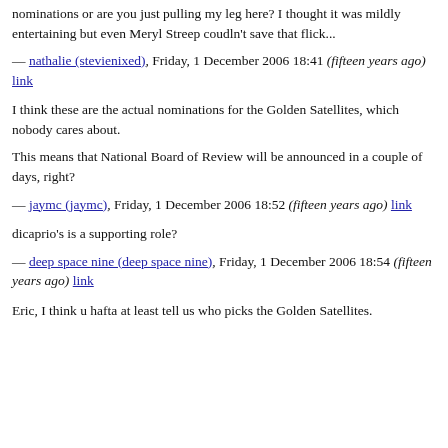nominations or are you just pulling my leg here? I thought it was mildly entertaining but even Meryl Streep coudln't save that flick...
— nathalie (stevienixed), Friday, 1 December 2006 18:41 (fifteen years ago) link
I think these are the actual nominations for the Golden Satellites, which nobody cares about.
This means that National Board of Review will be announced in a couple of days, right?
— jaymc (jaymc), Friday, 1 December 2006 18:52 (fifteen years ago) link
dicaprio's is a supporting role?
— deep space nine (deep space nine), Friday, 1 December 2006 18:54 (fifteen years ago) link
Eric, I think u hafta at least tell us who picks the Golden Satellites.